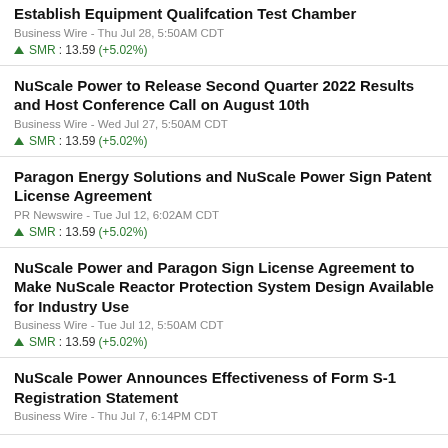Establish Equipment Qualifcation Test Chamber
Business Wire - Thu Jul 28, 5:50AM CDT
SMR : 13.59 (+5.02%)
NuScale Power to Release Second Quarter 2022 Results and Host Conference Call on August 10th
Business Wire - Wed Jul 27, 5:50AM CDT
SMR : 13.59 (+5.02%)
Paragon Energy Solutions and NuScale Power Sign Patent License Agreement
PR Newswire - Tue Jul 12, 6:02AM CDT
SMR : 13.59 (+5.02%)
NuScale Power and Paragon Sign License Agreement to Make NuScale Reactor Protection System Design Available for Industry Use
Business Wire - Tue Jul 12, 5:50AM CDT
SMR : 13.59 (+5.02%)
NuScale Power Announces Effectiveness of Form S-1 Registration Statement
Business Wire - Thu Jul 7, 6:14PM CDT